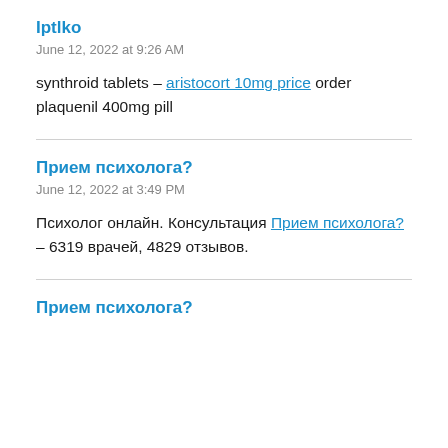Iptlko
June 12, 2022 at 9:26 AM
synthroid tablets – aristocort 10mg price order plaquenil 400mg pill
Прием психолога?
June 12, 2022 at 3:49 PM
Психолог онлайн. Консультация Прием психолога? – 6319 врачей, 4829 отзывов.
Прием психолога?